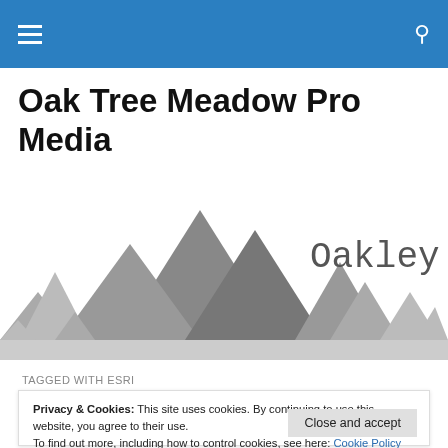Navigation bar with hamburger menu and search icon
Oak Tree Meadow Pro Media
[Figure (logo): Mountain silhouette logo in grayscale with the word 'Oakley' in monospace font on the right side]
TAGGED WITH ESRI
Privacy & Cookies: This site uses cookies. By continuing to use this website, you agree to their use.
To find out more, including how to control cookies, see here: Cookie Policy
Close and accept